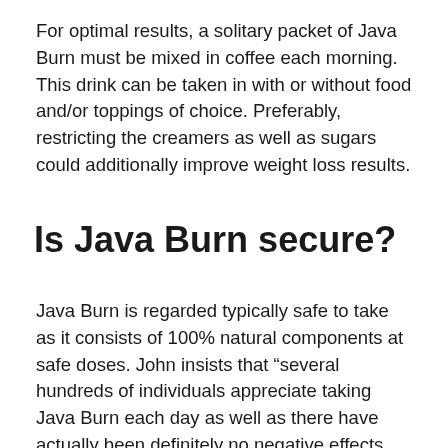For optimal results, a solitary packet of Java Burn must be mixed in coffee each morning. This drink can be taken in with or without food and/or toppings of choice. Preferably, restricting the creamers as well as sugars could additionally improve weight loss results.
Is Java Burn secure?
Java Burn is regarded typically safe to take as it consists of 100% natural components at safe doses. John insists that “several hundreds of individuals appreciate taking Java Burn each day as well as there have actually been definitely no negative effects reported.” Each packet is claimed to have